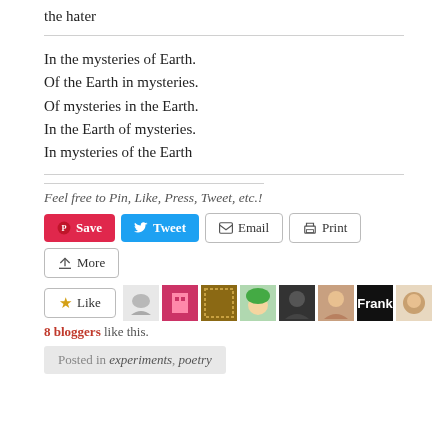the hater
In the mysteries of Earth.
Of the Earth in mysteries.
Of mysteries in the Earth.
In the Earth of mysteries.
In mysteries of the Earth
Feel free to Pin, Like, Press, Tweet, etc.!
[Figure (screenshot): Social share buttons: Save (Pinterest, red), Tweet (Twitter, blue), Email (gray outline), Print (gray outline), More (gray outline)]
[Figure (screenshot): Like button with star icon, followed by 8 blogger avatar thumbnails]
8 bloggers like this.
Posted in experiments, poetry